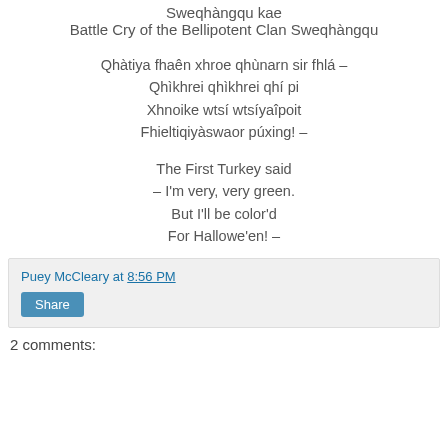Sweqhàngqu kae
Battle Cry of the Bellipotent Clan Sweqhàngqu
Qhàtiya fhaên xhroe qhùnarn sir fhlá –
Qhìkhrei qhìkhrei qhí pi
Xhnoike wtsí wtsíyaîpoit
Fhieltiqiyàswaor púxing! –

The First Turkey said
– I'm very, very green.
But I'll be color'd
For Hallowe'en! –
Puey McCleary at 8:56 PM
Share
2 comments: